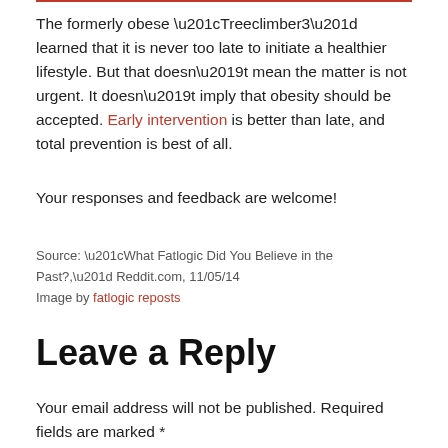The formerly obese “Treeclimber3” learned that it is never too late to initiate a healthier lifestyle. But that doesn’t mean the matter is not urgent. It doesn’t imply that obesity should be accepted. Early intervention is better than late, and total prevention is best of all.
Your responses and feedback are welcome!
Source: “What Fatlogic Did You Believe in the Past?,” Reddit.com, 11/05/14
Image by fatlogic reposts
Leave a Reply
Your email address will not be published. Required fields are marked *